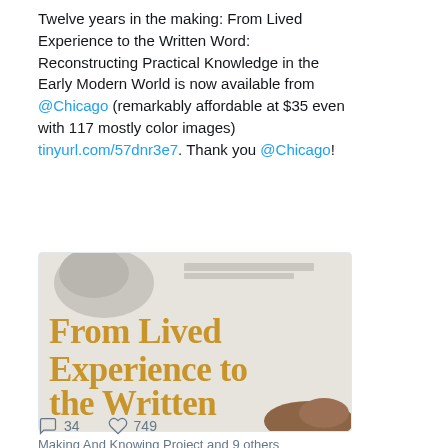Twelve years in the making: From Lived Experience to the Written Word: Reconstructing Practical Knowledge in the Early Modern World is now available from @Chicago (remarkably affordable at $35 even with 117 mostly color images) tinyurl.com/57dnr3e7. Thank you @Chicago!
[Figure (photo): Book cover image showing 'From Lived Experience to the Written Word' with golden/yellow large serif text on a light background, with hands visible at bottom right corner and small text at top reading about reconstructing knowledge in the early modern world.]
Making And Knowing Project and 9 others
34   749